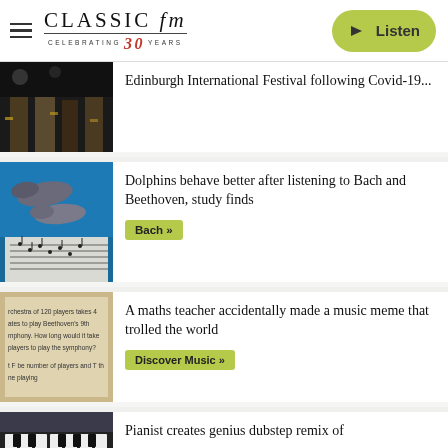[Figure (logo): Classic FM logo with hamburger menu and Listen button]
[Figure (photo): Orchestra musicians on stage]
Edinburgh International Festival following Covid-19...
[Figure (photo): Two dolphins swimming underwater with sheet music overlay]
Dolphins behave better after listening to Bach and Beethoven, study finds
Bach »
[Figure (photo): Maths problem on paper about orchestra of 120 players]
A maths teacher accidentally made a music meme that trolled the world
Discover Music »
[Figure (photo): Piano/keyboard instrument close-up]
Pianist creates genius dubstep remix of